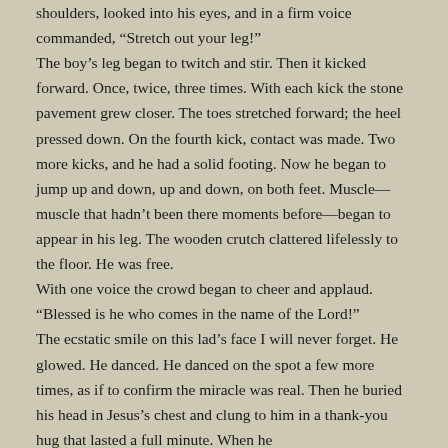shoulders, looked into his eyes, and in a firm voice commanded, “Stretch out your leg!” The boy’s leg began to twitch and stir. Then it kicked forward. Once, twice, three times. With each kick the stone pavement grew closer. The toes stretched forward; the heel pressed down. On the fourth kick, contact was made. Two more kicks, and he had a solid footing. Now he began to jump up and down, up and down, on both feet. Muscle—muscle that hadn’t been there moments before—began to appear in his leg. The wooden crutch clattered lifelessly to the floor. He was free. With one voice the crowd began to cheer and applaud. “Blessed is he who comes in the name of the Lord!” The ecstatic smile on this lad’s face I will never forget. He glowed. He danced. He danced on the spot a few more times, as if to confirm the miracle was real. Then he buried his head in Jesus’s chest and clung to him in a thank-you hug that lasted a full minute. When he